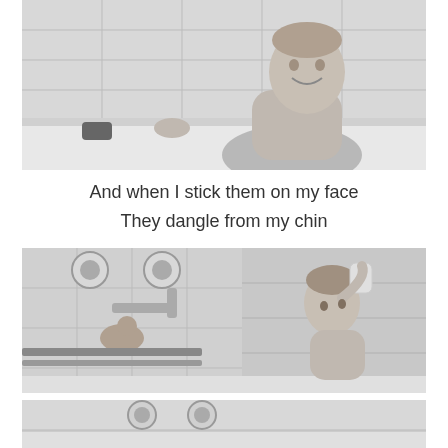[Figure (photo): Black and white photo of a smiling baby in a bathtub, upper body visible, leaning on the tub edge]
And when I stick them on my face
They dangle from my chin
[Figure (photo): Black and white photo of a young child in a bathtub holding a cup above their head near bath faucets]
[Figure (photo): Black and white photo partially visible at bottom, bath faucets visible]